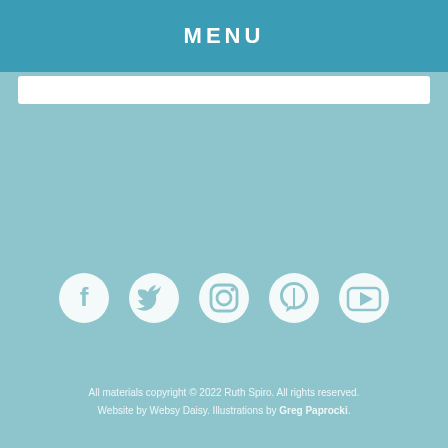MENU
[Figure (other): White search bar input field]
[Figure (other): Row of five white social media icons: Facebook, Twitter, Instagram, Pinterest, YouTube]
All materials copyright © 2022 Ruth Spiro. All rights reserved. Website by Websy Daisy. Illustrations by Greg Paprocki.